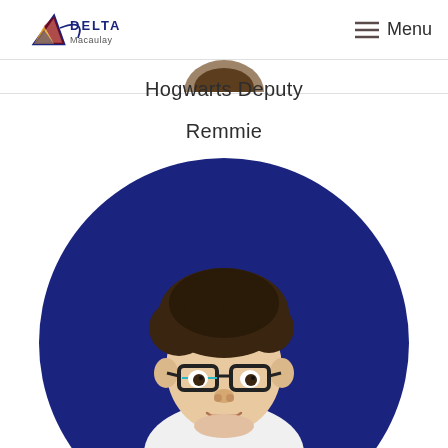DELTA Macaulay — Menu
[Figure (photo): Bottom arc of previous profile photo visible above horizontal divider line]
Hogwarts Deputy
Remmie
[Figure (photo): Photo of a young boy with dark hair and glasses, wearing a white top, set against a dark navy blue circular background]